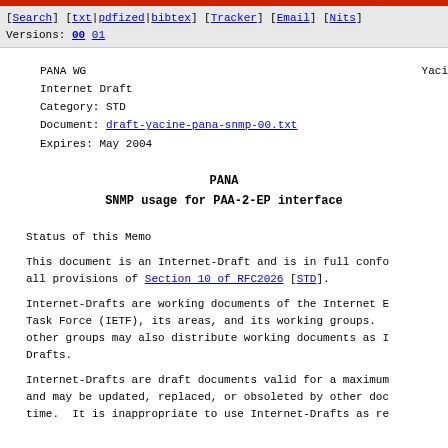[Search] [txt|pdfized|bibtex] [Tracker] [Email] [Nits]
Versions: 00 01
PANA WG                                                        Yaci
Internet Draft
Category: STD
Document: draft-yacine-pana-snmp-00.txt
Expires: May 2004
PANA
SNMP usage for PAA-2-EP interface
Status of this Memo
This document is an Internet-Draft and is in full confo
all provisions of Section 10 of RFC2026 [STD].
Internet-Drafts are working documents of the Internet E
Task Force (IETF), its areas, and its working groups.
other groups may also distribute working documents as I
Drafts.
Internet-Drafts are draft documents valid for a maximum
and may be updated, replaced, or obsoleted by other doc
time.  It is inappropriate to use Internet-Drafts as re